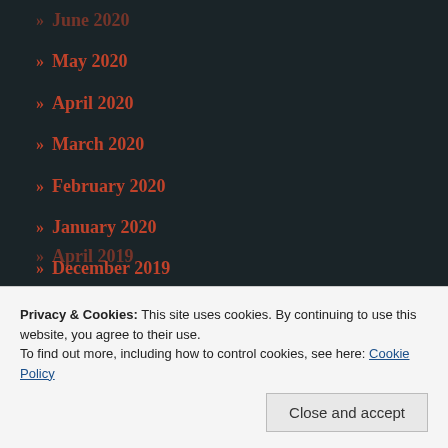» June 2020
» May 2020
» April 2020
» March 2020
» February 2020
» January 2020
» December 2019
» November 2019
» October 2019
» September 2019
» August 2019
» April 2019
Privacy & Cookies: This site uses cookies. By continuing to use this website, you agree to their use.
To find out more, including how to control cookies, see here: Cookie Policy
Close and accept